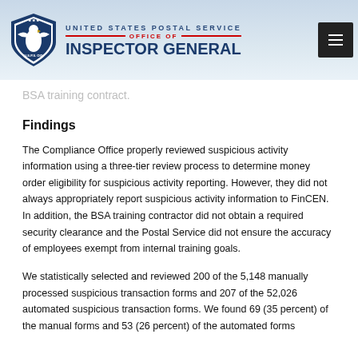UNITED STATES POSTAL SERVICE OFFICE OF INSPECTOR GENERAL
BSA training contract.
Findings
The Compliance Office properly reviewed suspicious activity information using a three-tier review process to determine money order eligibility for suspicious activity reporting. However, they did not always appropriately report suspicious activity information to FinCEN. In addition, the BSA training contractor did not obtain a required security clearance and the Postal Service did not ensure the accuracy of employees exempt from internal training goals.
We statistically selected and reviewed 200 of the 5,148 manually processed suspicious transaction forms and 207 of the 52,026 automated suspicious transaction forms. We found 69 (35 percent) of the manual forms and 53 (26 percent) of the automated forms